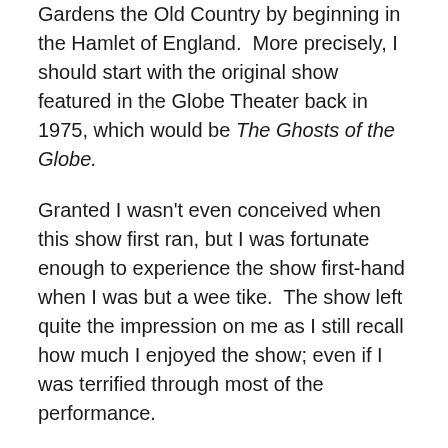Gardens the Old Country by beginning in the Hamlet of England.  More precisely, I should start with the original show featured in the Globe Theater back in 1975, which would be The Ghosts of the Globe.
Granted I wasn't even conceived when this show first ran, but I was fortunate enough to experience the show first-hand when I was but a wee tike.  The show left quite the impression on me as I still recall how much I enjoyed the show; even if I was terrified through most of the performance.
Basically the story of Ghosts of the Globe centered on a young girl named Melinda, who wonders into an empty theater.  Suddenly she begins seeing visions of fabulous characters that embrace her into the world of Shakespeare until the witch from Macbeth appears along